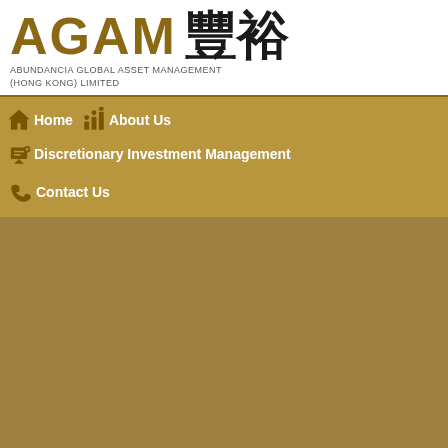AGAM 豐裕
ABUNDANCIA GLOBAL ASSET MANAGEMENT (HONG KONG) LIMITED
Home
About Us
Discretionary Investment Management
Contact Us
[Figure (screenshot): Dark golden-brown content area placeholder below the navigation bar]